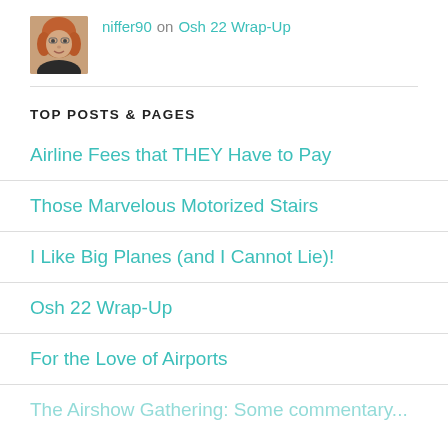[Figure (photo): Small portrait photo of a woman with curly reddish hair]
niffer90 on Osh 22 Wrap-Up
TOP POSTS & PAGES
Airline Fees that THEY Have to Pay
Those Marvelous Motorized Stairs
I Like Big Planes (and I Cannot Lie)!
Osh 22 Wrap-Up
For the Love of Airports
The Airshow Gathering: Some commentary...